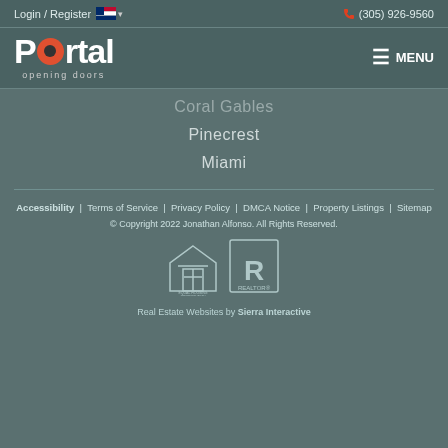Login / Register  🇺🇸 ▾  (305) 926-9560
[Figure (logo): Portal real estate logo — white bold text reading 'Portal' with orange circle forming the 'o', tagline 'opening doors' below]
Coral Gables
Pinecrest
Miami
Accessibility  |  Terms of Service  |  Privacy Policy  |  DMCA Notice  |  Property Listings  |  Sitemap
© Copyright 2022 Jonathan Alfonso. All Rights Reserved.
[Figure (logo): Equal Housing Opportunity logo — house outline with equals sign, text 'EQUAL HOUSING OPPORTUNITY']
[Figure (logo): Realtor logo — stylized R with 'REALTOR®' text]
Real Estate Websites by Sierra Interactive